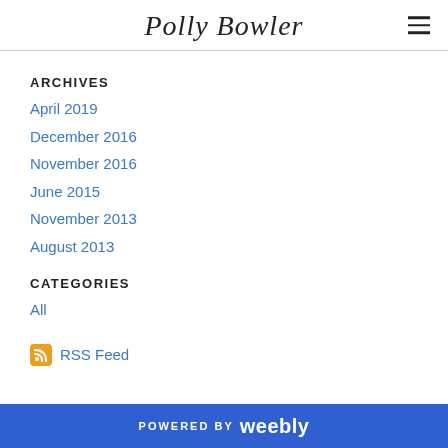Polly Bowler
ARCHIVES
April 2019
December 2016
November 2016
June 2015
November 2013
August 2013
CATEGORIES
All
RSS Feed
POWERED BY weebly